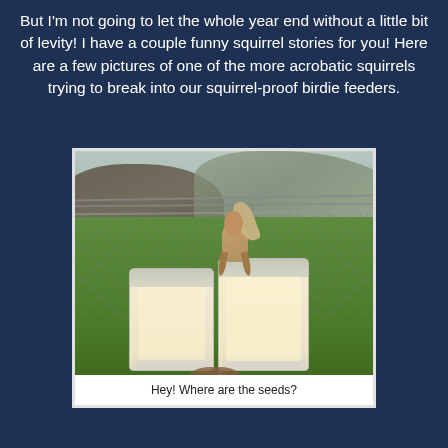But I'm not going to let the whole year end without a little bit of levity! I have a couple funny squirrel stories for you! Here are a few pictures of one of the more acrobatic squirrels trying to break into our squirrel-proof birdie feeders.
[Figure (photo): A squirrel perched on top of two squirrel-proof bird feeders hanging on wires attached to a chain-link fence, with green grass and bare bushes in the background.]
Hey! Where are the seeds?